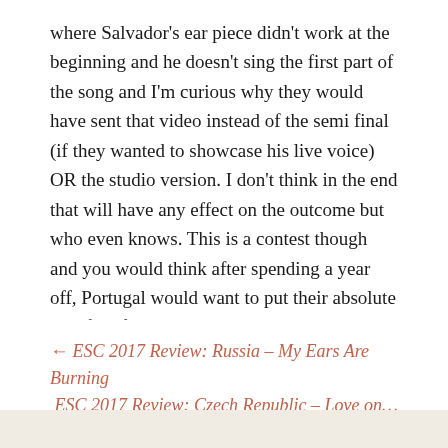where Salvador's ear piece didn't work at the beginning and he doesn't sing the first part of the song and I'm curious why they would have sent that video instead of the semi final (if they wanted to showcase his live voice) OR the studio version. I don't think in the end that will have any effect on the outcome but who even knows. This is a contest though and you would think after spending a year off, Portugal would want to put their absolute best foot forward.
← ESC 2017 Review: Russia – My Ears Are Burning
ESC 2017 Review: Czech Republic – Love on…My Turn →